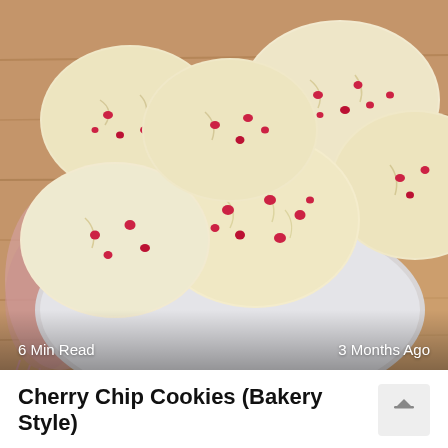[Figure (photo): Overhead close-up photo of cherry chip cookies piled on a white plate, sitting on a rustic wooden table with a pink cloth napkin visible on the left. The cookies are light/cream colored with red cherry chip pieces scattered throughout. The white plate is partially visible beneath the stack of cookies.]
6 Min Read
3 Months Ago
Cherry Chip Cookies (Bakery Style)